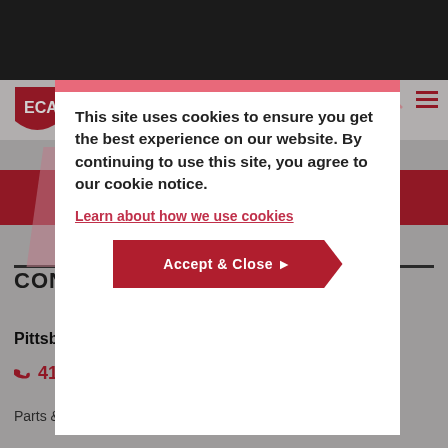[Figure (logo): ECA shield logo in red with white text]
This site uses cookies to ensure you get the best experience on our website. By continuing to use this site, you agree to our cookie notice.
Learn about how we use cookies
Submit ▶
Accept & Close ▶
CONTACT US
Pittsburgh
412-264-4480 ▶
Parts & Service: 7:00 AM – 4:00 PM